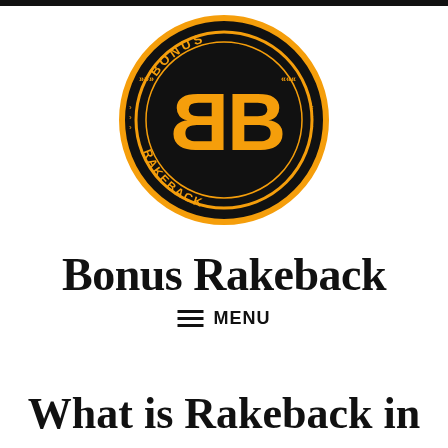[Figure (logo): Bonus Rakeback circular logo: black circle with orange border, orange 'BB' letters in center, 'BONUS' text at top and 'RAKEBACK' text at bottom in orange, decorative arrow chevrons around the ring]
Bonus Rakeback
≡ MENU
What is Rakeback in